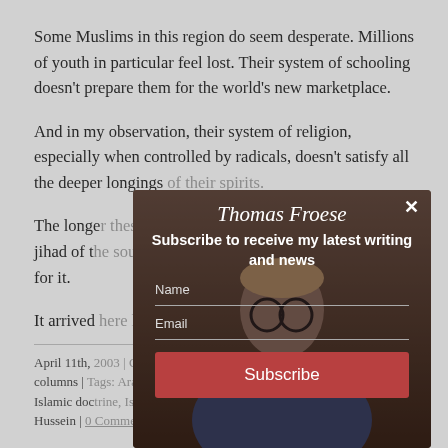Some Muslims in this region do seem desperate. Millions of youth in particular feel lost. Their system of schooling doesn't prepare them for the world's new marketplace.
And in my observation, their system of religion, especially when controlled by radicals, doesn't satisfy all the deeper longings of their spirits.
The longer these core issues blur, the more a certain jihad of the soul will seem to those who are lost to call for it.
It arrived here long ago.
April 11th, 2003 | Categories: Hamilton Spectator Newspaper columns | Tags: Arab culture, Arab fear, Iraq War, Islamic culture, Islamic doctrine, Islamic tradition, Jihad, Muslim, stories, Saddam Hussein | 0 Comments
[Figure (photo): Subscription modal overlay showing Thomas Froese newsletter signup with Name and Email fields and a Subscribe button, over a photo of a man with glasses]